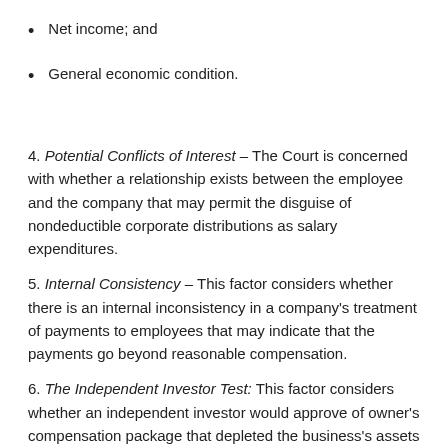Net income; and
General economic condition.
4. Potential Conflicts of Interest – The Court is concerned with whether a relationship exists between the employee and the company that may permit the disguise of nondeductible corporate distributions as salary expenditures.
5. Internal Consistency – This factor considers whether there is an internal inconsistency in a company's treatment of payments to employees that may indicate that the payments go beyond reasonable compensation.
6. The Independent Investor Test: This factor considers whether an independent investor would approve of owner's compensation package that depleted the business's assets without appropriately